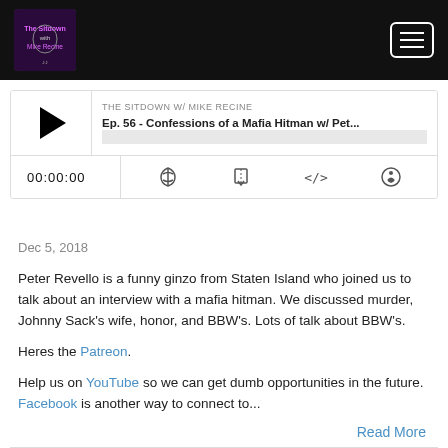[Figure (screenshot): Top navigation bar with podcast logo on the left and hamburger menu button on the right, dark black background]
[Figure (screenshot): Podcast audio player widget showing play button, episode title 'Ep. 56 - Confessions of a Mafia Hitman w/ Pet...', show name 'THE SITDOWN W/ MIKE RECINE', progress bar, time display 00:00:00, and control icons for subscribe, download, embed, and share]
Dec 5, 2018
Peter Revello is a funny ginzo from Staten Island who joined us to talk about an interview with a mafia hitman. We discussed murder, Johnny Sack's wife, honor, and BBW's. Lots of talk about BBW's.
Heres the Patreon.
Help us on YouTube so we can get dumb opportunities in the future. Facebook is another way to connect to...
Read More